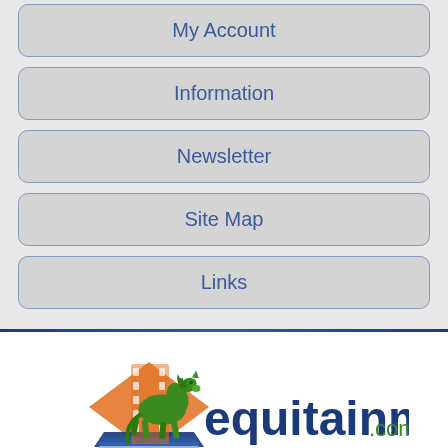My Account
Information
Newsletter
Site Map
Links
[Figure (logo): Equitainment.com.au logo with green horse and orange/blue book graphic]
Equitainment